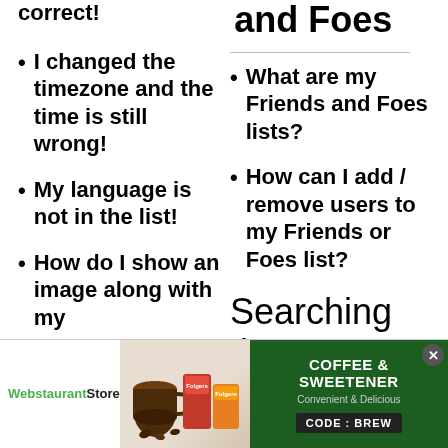correct!
and Foes
I changed the timezone and the time is still wrong!
What are my Friends and Foes lists?
How can I add / remove users to my Friends or Foes list?
My language is not in the list!
How do I show an image along with my
Searching the
[Figure (photo): WebstaurantStore advertisement banner for Coffee & Sweetener with Folgers products, green background, CODE: BREW]